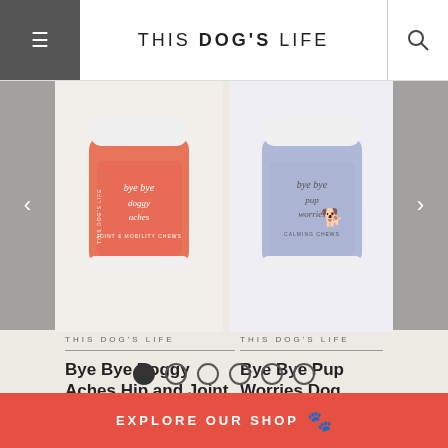THIS DOG'S LIFE
[Figure (photo): Orange jar labeled 'bye bye doggy aches' - hip and joint dog supplement by This Dog's Life]
[Figure (photo): Lavender/light blue jar labeled 'bye bye pup worries' - dog anxiety and calming supplement by This Dog's Life]
THIS DOG'S LIFE
Bye Bye Doggy Aches Hip and Joint Dog Supplement
$27.00
THIS DOG'S LIFE
Bye Bye Pup Worries Dog Anxiety and Calming Supplement
$35.00
EXPLORE OUR SHOP